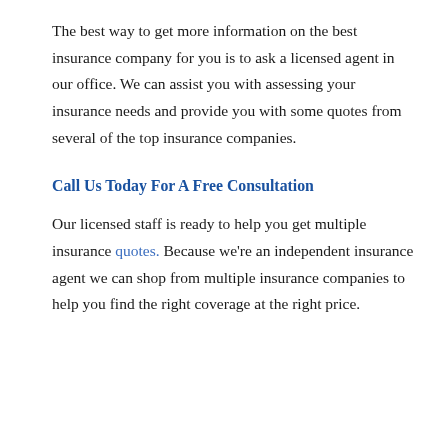The best way to get more information on the best insurance company for you is to ask a licensed agent in our office. We can assist you with assessing your insurance needs and provide you with some quotes from several of the top insurance companies.
Call Us Today For A Free Consultation
Our licensed staff is ready to help you get multiple insurance quotes. Because we're an independent insurance agent we can shop from multiple insurance companies to help you find the right coverage at the right price.